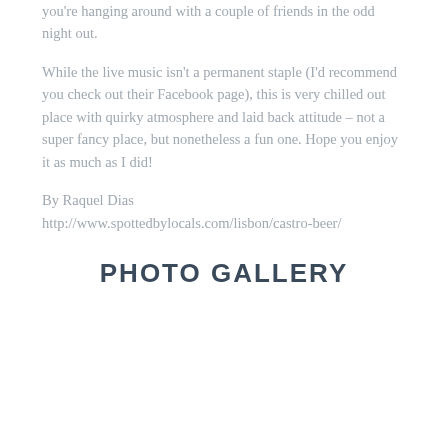you're hanging around with a couple of friends in the odd night out.
While the live music isn't a permanent staple (I'd recommend you check out their Facebook page), this is very chilled out place with quirky atmosphere and laid back attitude – not a super fancy place, but nonetheless a fun one. Hope you enjoy it as much as I did!
By Raquel Dias
http://www.spottedbylocals.com/lisbon/castro-beer/
PHOTO GALLERY